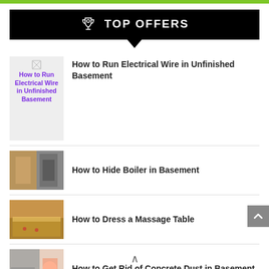🏆 TOP OFFERS
How to Run Electrical Wire in Unfinished Basement
How to Hide Boiler in Basement
How to Dress a Massage Table
How to Get Rid of Concrete Dust in Basement